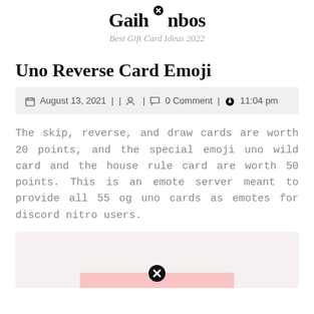Gaihanbos
Best Gift Card Ideas 2022
Uno Reverse Card Emoji
August 13, 2021 | | | 0 Comment | 11:04 pm
The skip, reverse, and draw cards are worth 20 points, and the special emoji uno wild card and the house rule card are worth 50 points. This is an emote server meant to provide all 55 og uno cards as emotes for discord nitro users.
[Figure (photo): Partial image placeholder with pink bar at bottom and circle-x icon]